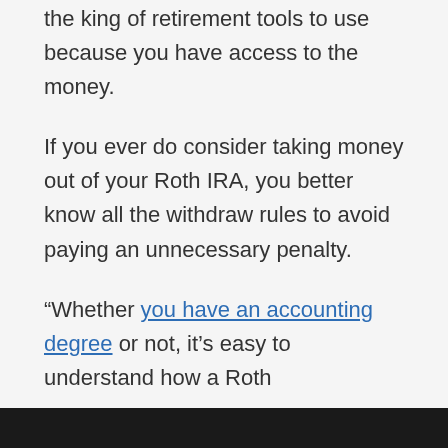the king of retirement tools to use because you have access to the money.
If you ever do consider taking money out of your Roth IRA, you better know all the withdraw rules to avoid paying an unnecessary penalty.
“Whether you have an accounting degree or not, it’s easy to understand how a Roth